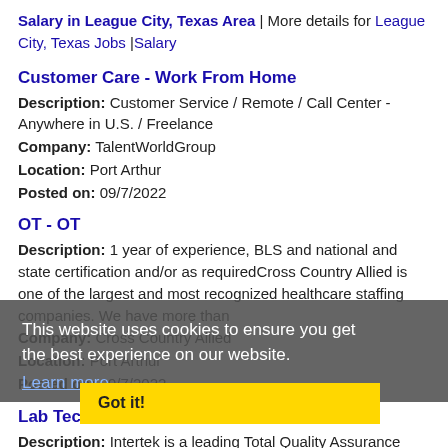Salary in League City, Texas Area | More details for League City, Texas Jobs |Salary
Customer Care - Work From Home
Description: Customer Service / Remote / Call Center - Anywhere in U.S. / Freelance
Company: TalentWorldGroup
Location: Port Arthur
Posted on: 09/7/2022
OT - OT
Description: 1 year of experience, BLS and national and state certification and/or as requiredCross Country Allied is one of the largest and most recognized healthcare staffing companies. We have more than
Company: Cross Country Allied
Location: Port Arthur
Posted on: 09/7/2022
This website uses cookies to ensure you get the best experience on our website. Learn more
Got it!
Lab Technician-Petrol
Description: Intertek is a leading Total Quality Assurance provider to industries worldwide. Our network of more than 1,000 laboratories and offices and over 43,000 people in more than 100